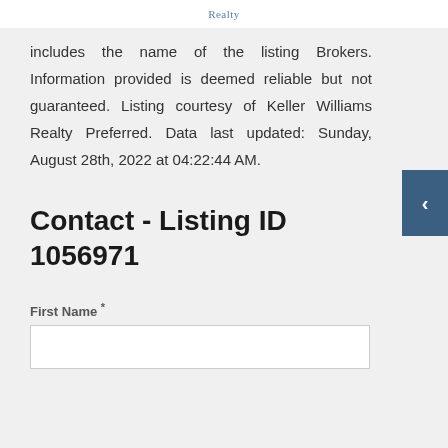Realty
includes the name of the listing Brokers. Information provided is deemed reliable but not guaranteed. Listing courtesy of Keller Williams Realty Preferred. Data last updated: Sunday, August 28th, 2022 at 04:22:44 AM.
Contact - Listing ID 1056971
First Name *